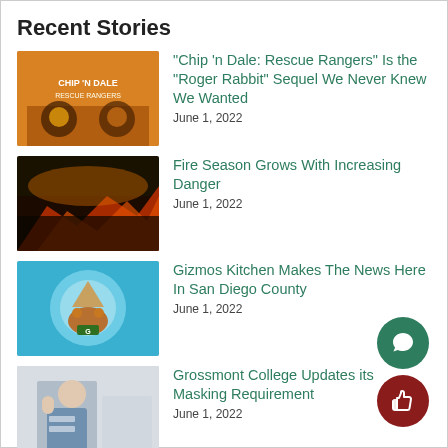Recent Stories
"Chip 'n Dale: Rescue Rangers" Is the "Roger Rabbit" Sequel We Never Knew We Wanted
June 1, 2022
Fire Season Grows With Increasing Danger
June 1, 2022
Gizmos Kitchen Makes The News Here In San Diego County
June 1, 2022
Grossmont College Updates its Masking Requirement
June 1, 2022
It's not a myth, Grossmont really did have a cheer team at one point.
June 1, 2022